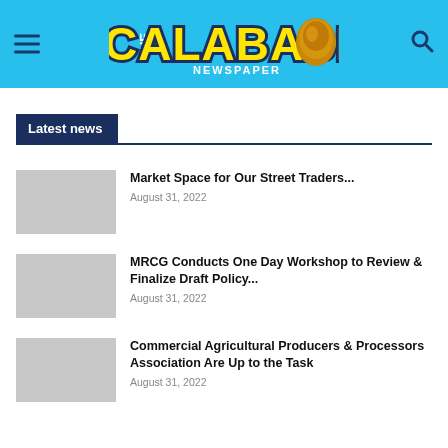The Calabash Newspaper
Latest news
Market Space for Our Street Traders...
August 31, 2022
MRCG Conducts One Day Workshop to Review & Finalize Draft Policy...
August 31, 2022
Commercial Agricultural Producers & Processors Association Are Up to the Task
August 31, 2022